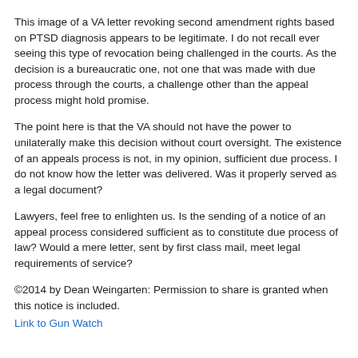This image of a VA letter revoking second amendment rights based on PTSD diagnosis appears to be legitimate.   I do not recall ever seeing this type of revocation being challenged in the courts.   As the decision is a bureaucratic one, not one that was made with due process through the courts, a challenge other than the appeal process might hold promise.
The point here is that the VA should not have the power to unilaterally make this decision without court oversight.  The existence of an appeals process is not, in my opinion, sufficient due process.   I do not know how the letter was delivered.   Was it properly served as a legal document?
Lawyers, feel free to enlighten us.    Is the sending of a notice of an appeal process considered sufficient as to constitute due process of law?   Would a mere letter, sent by first class mail, meet legal requirements of service?
©2014 by Dean Weingarten: Permission to share is granted when this notice is included.
Link to Gun Watch